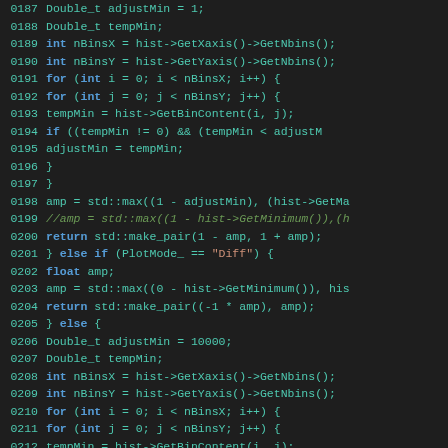[Figure (screenshot): Source code listing in a dark-themed code editor showing C++ code lines 0187-0217 with syntax highlighting. Keywords in blue, identifiers in teal, strings in orange, comments in green/italic.]